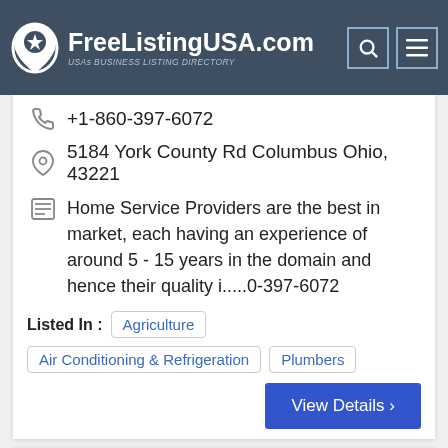FreeListingUSA.com — USAs BUSINESS LISTING DIRECTORY
+1-860-397-6072
5184 York County Rd Columbus Ohio, 43221
Home Service Providers are the best in market, each having an experience of around 5 - 15 years in the domain and hence their quality i.....0-397-6072
Listed In : Agriculture | Air Conditioning & Refrigeration | Plumbers
View Details ›
[Figure (logo): Partially visible logo with text 'imeric / ERTO CHI' in red, blue and green colors — appears to be 'Americ Puerto Chi' or similar business name]